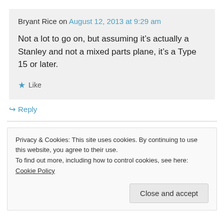Bryant Rice on August 12, 2013 at 9:29 am
Not a lot to go on, but assuming it’s actually a Stanley and not a mixed parts plane, it’s a Type 15 or later.
★ Like
↳ Reply
Privacy & Cookies: This site uses cookies. By continuing to use this website, you agree to their use.
To find out more, including how to control cookies, see here: Cookie Policy
Close and accept